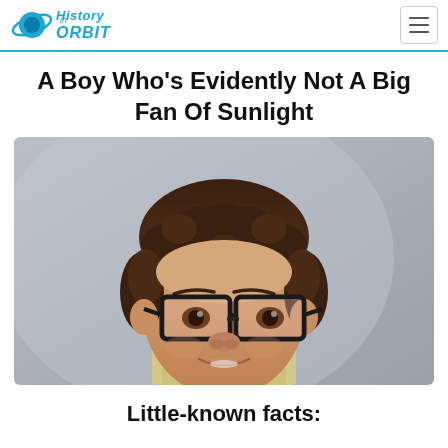History in Orbit
A Boy Who's Evidently Not A Big Fan Of Sunlight
[Figure (photo): Vintage school portrait photo of a teenage boy with curly brown hair, wearing large black-rimmed glasses and a light-colored collared shirt, smiling slightly at the camera. The background is a neutral gray studio backdrop.]
Little-known facts: